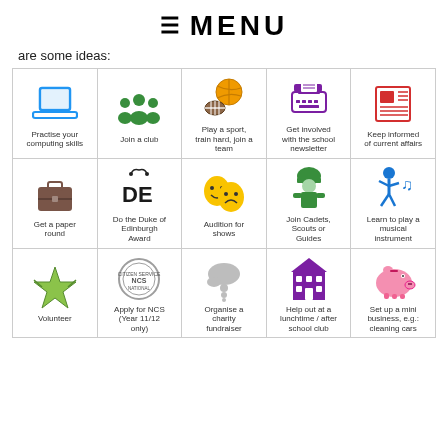≡ MENU
are some ideas:
[Figure (infographic): 3x5 grid of activity icons with labels: Practise your computing skills, Join a club, Play a sport train hard join a team, Get involved with the school newsletter, Keep informed of current affairs, Get a paper round, Do the Duke of Edinburgh Award, Audition for shows, Join Cadets Scouts or Guides, Learn to play a musical instrument, Volunteer, Apply for NCS (Year 11/12 only), Organise a charity fundraiser, Help out at a lunchtime / after school club, Set up a mini business e.g. cleaning cars]